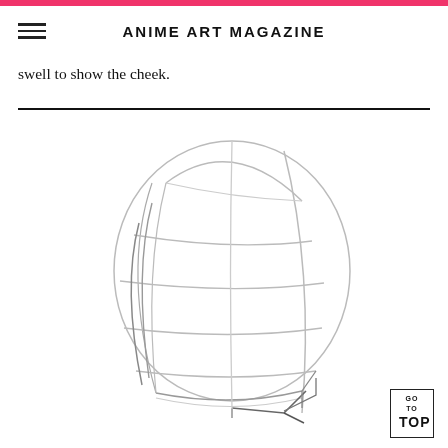ANIME ART MAGAZINE
swell to show the cheek.
[Figure (illustration): A three-quarter view sketch of a sphere with horizontal and vertical construction lines (latitude and longitude curves) suggesting a head wireframe structure, drawn in light gray pencil strokes.]
GO TO TOP